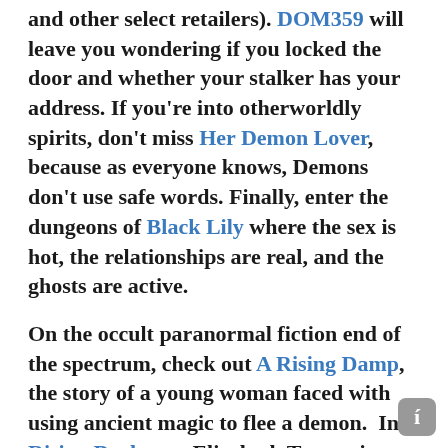and other select retailers). DOM359 will leave you wondering if you locked the door and whether your stalker has your address. If you're into otherworldly spirits, don't miss Her Demon Lover, because as everyone knows, Demons don't use safe words. Finally, enter the dungeons of Black Lily where the sex is hot, the relationships are real, and the ghosts are active.

On the occult paranormal fiction end of the spectrum, check out A Rising Damp, the story of a young woman faced with using ancient magic to flee a demon. In Rising Darkness, Elizabeth Tanner is back, this time investigating a house haunted by the vengeful spirit of a Satanic priest. For a more realistic scare, read Samuel, a cautionary tale (based on a true story) about spirit boards and the horrors that can come from them.